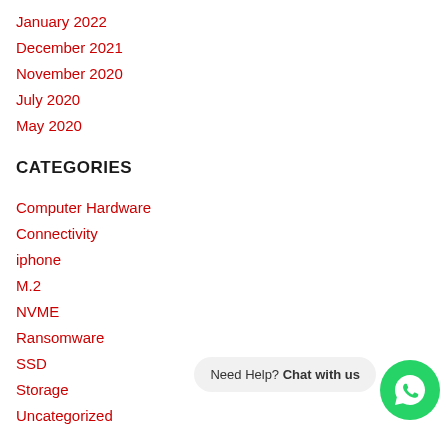January 2022
December 2021
November 2020
July 2020
May 2020
CATEGORIES
Computer Hardware
Connectivity
iphone
M.2
NVME
Ransomware
SSD
Storage
Uncategorized
META
Log in
Need Help? Chat with us